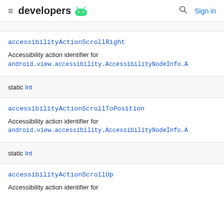developers | Sign in
accessibilityActionScrollRight
Accessibility action identifier for android.view.accessibility.AccessibilityNodeInfo.A
static Int
accessibilityActionScrollToPosition
Accessibility action identifier for android.view.accessibility.AccessibilityNodeInfo.A
static Int
accessibilityActionScrollUp
Accessibility action identifier for